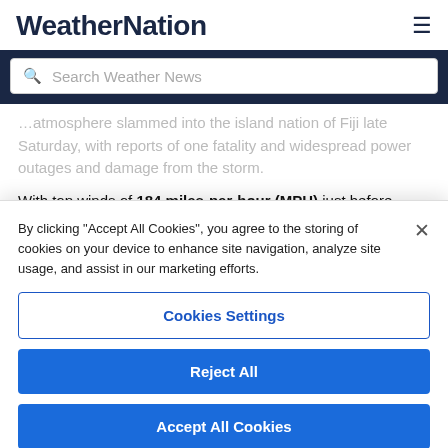WeatherNation
…atmosphere slammed into the island nation of Fiji late Saturday, with reports of one fatality and widespread power outages and damage from the storm.
With top winds of 184 miles-per-hour (MPH) just before landfall early Saturday morning U.S. time, Winston moved into…
By clicking "Accept All Cookies", you agree to the storing of cookies on your device to enhance site navigation, analyze site usage, and assist in our marketing efforts.
Cookies Settings
Reject All
Accept All Cookies